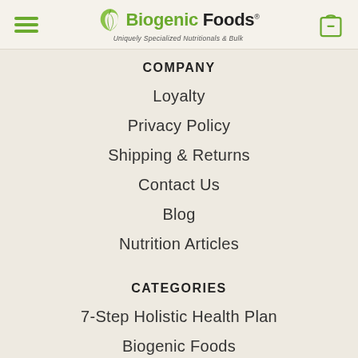Biogenic Foods — Uniquely Specialized Nutritionals & Bulk
COMPANY
Loyalty
Privacy Policy
Shipping & Returns
Contact Us
Blog
Nutrition Articles
CATEGORIES
7-Step Holistic Health Plan
Biogenic Foods